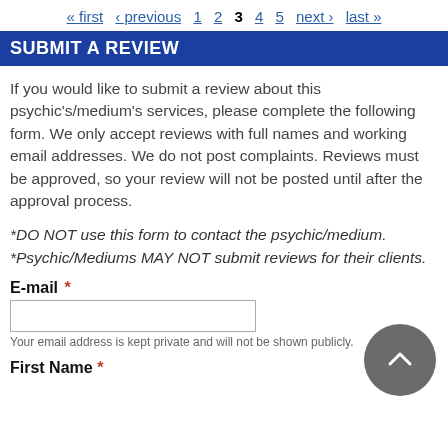« first ‹ previous 1 2 3 4 5 next › last »
SUBMIT A REVIEW
If you would like to submit a review about this psychic's/medium's services, please complete the following form. We only accept reviews with full names and working email addresses. We do not post complaints. Reviews must be approved, so your review will not be posted until after the approval process.
*DO NOT use this form to contact the psychic/medium. *Psychic/Mediums MAY NOT submit reviews for their clients.
E-mail *
Your email address is kept private and will not be shown publicly.
First Name *